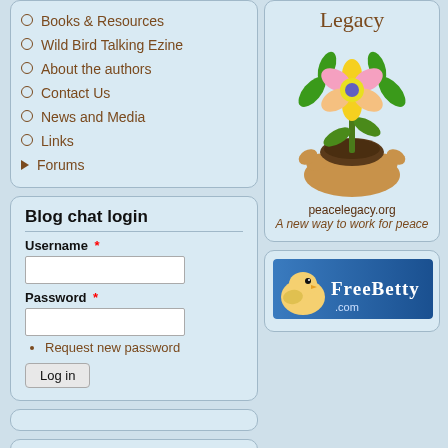Books & Resources
Wild Bird Talking Ezine
About the authors
Contact Us
News and Media
Links
Forums
Blog chat login
Username *
Password *
Request new password
Log in
Legacy
[Figure (illustration): Hands holding soil with a flower growing, colorful flower with green leaves]
peacelegacy.org
A new way to work for peace
[Figure (screenshot): FreeBetty.com banner with chick image on blue gradient background]
Syndicate